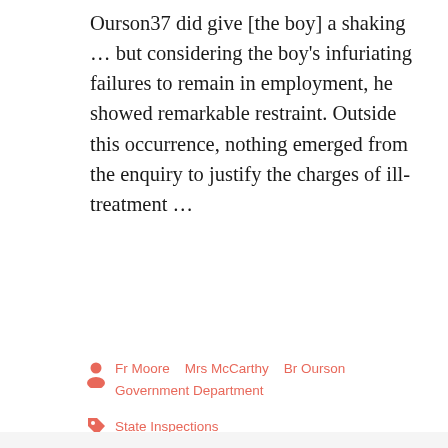Ourson37 did give [the boy] a shaking … but considering the boy's infuriating failures to remain in employment, he showed remarkable restraint. Outside this occurrence, nothing emerged from the enquiry to justify the charges of ill-treatment …
Fr Moore   Mrs McCarthy   Br Ourson   Government Department
State Inspections
Read more